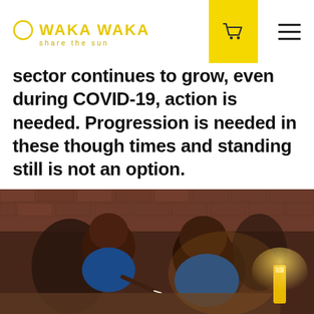WAKA WAKA — share the sun
sector continues to grow, even during COVID-19, action is needed. Progression is needed in these though times and standing still is not an option.
[Figure (photo): Two children in blue school uniforms leaning over a desk and writing, lit by a small yellow WakaWaka light, in a brick-walled classroom with other children in the background.]